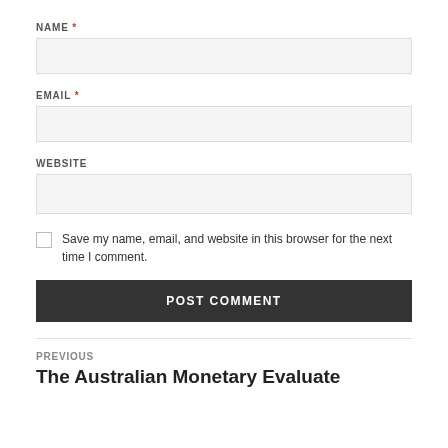NAME *
EMAIL *
WEBSITE
Save my name, email, and website in this browser for the next time I comment.
POST COMMENT
PREVIOUS
The Australian Monetary Evaluate